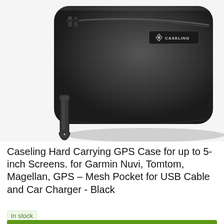[Figure (photo): Black Caseling hard carrying GPS case with wrist strap and zipper, shown at an angle against a white background. The case has a textured surface and a small Caseling logo badge on the front.]
Caseling Hard Carrying GPS Case for up to 5-inch Screens. for Garmin Nuvi, Tomtom, Magellan, GPS – Mesh Pocket for USB Cable and Car Charger - Black
in stock